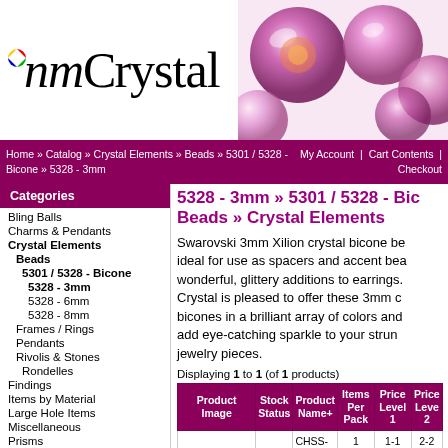[Figure (logo): INM Crystal logo with colorful dot above the I, decorative crystal beads image on the right]
Home » Catalog » Crystal Elements » Beads » 5301 / 5328 - Bicone » 5328 - 3mm   My Account | Cart Contents | Checkout
Categories
Bling Balls
Charms & Pendants
Crystal Elements
Beads
5301 / 5328 - Bicone
5328 - 3mm
5328 - 6mm
5328 - 8mm
Frames / Rings
Pendants
Rivolis & Stones
Rondelles
Findings
Items by Material
Large Hole Items
Miscellaneous
Prisms
Rivoli Holders
Rondelles
Seed Beads
Sterling Silver
Thunder Polish Crystal
TierraCast®
5328 - 3mm » 5301 / 5328 - Bicone Beads » Crystal Elements
Swarovski 3mm Xilion crystal bicone beads are ideal for use as spacers and accent beads, or as wonderful, glittery additions to earrings. INM Crystal is pleased to offer these 3mm crystal bicones in a brilliant array of colors and finishes that add eye-catching sparkle to your strung and wired jewelry pieces.
Displaying 1 to 1 (of 1 products)
| Product Image | Stock Status | Product Name+ | Items Per Pack | Price Level 1 | Price Level 2 |
| --- | --- | --- | --- | --- | --- |
|  |  | CHSS-TEACH-1
Sterling Silver Charm | 1
Charm | 1-1
$10.78 | 2-2
$10.3 |